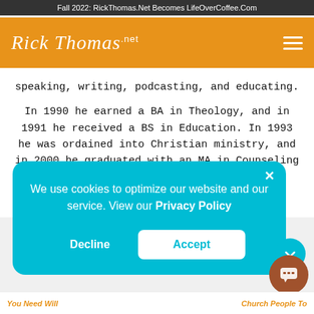Fall 2022: RickThomas.Net Becomes LifeOverCoffee.Com
[Figure (logo): Rick Thomas .net logo in white script on orange background with hamburger menu icon]
speaking, writing, podcasting, and educating.
In 1990 he earned a BA in Theology, and in 1991 he received a BS in Education. In 1993 he was ordained into Christian ministry, and in 2000 he graduated with an MA in Counseling from The Master's University in Santa Clarita, CA. In 2006
We use cookies to optimize our website and our service. View our Privacy Policy
Decline
Accept
You Need Will    Church People To